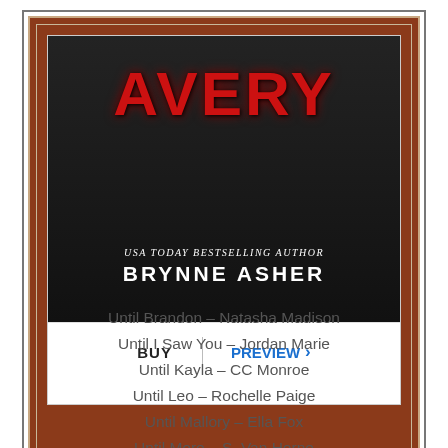[Figure (illustration): Book cover for 'Avery' by Brynne Asher (USA Today Bestselling Author), shown in a book-store app interface with BUY and PREVIEW buttons below. The cover has a dark background with red bold text 'AVERY' and white author name.]
Until Brandon – Natasha Madison
Until I Saw You – Jordan Marie
Until Kayla – CC Monroe
Until Leo – Rochelle Paige
Until Mallory – Ella Fox
Until More – S. Van Horne
Until Nox – Layla Frost